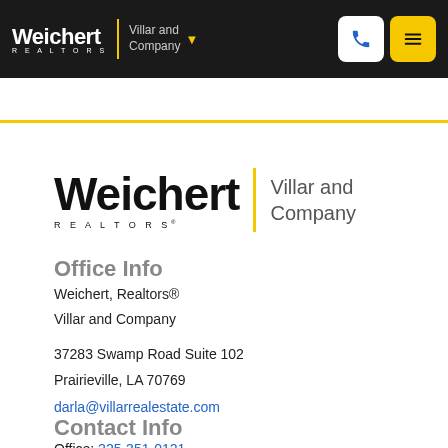Weichert REALTORS | Villar and Company
[Figure (logo): Weichert Realtors Villar and Company logo, large version with yellow vertical divider bar]
Office Info
Weichert, Realtors®
Villar and Company
37283 Swamp Road Suite 102
Prairieville, LA 70769
darla@villarrealestate.com
Contact Info
Office: 225-351-0121